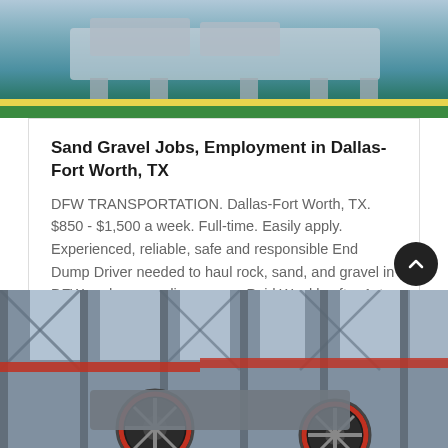[Figure (photo): Industrial machine/equipment on a green and yellow striped floor, top portion cropped]
Sand Gravel Jobs, Employment in Dallas-Fort Worth, TX
DFW TRANSPORTATION. Dallas-Fort Worth, TX. $850 - $1,500 a week. Full-time. Easily apply. Experienced, reliable, safe and responsible End Dump Driver needed to haul rock, sand, and gravel in DFW and surrounding area. ~ Paid Weekly after 1st Week. Posted. 3 days ago
GET PRICE
[Figure (photo): Industrial factory interior with heavy machinery, red and black crusher wheels, steel framework and large warehouse structure]